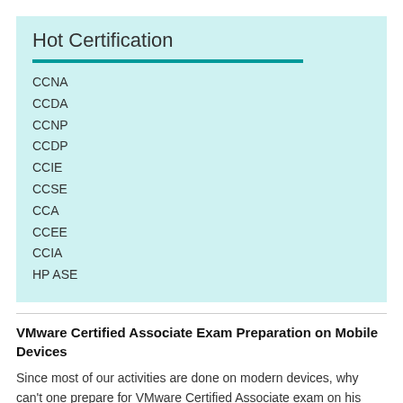Hot Certification
CCNA
CCDA
CCNP
CCDP
CCIE
CCSE
CCA
CCEE
CCIA
HP ASE
VMware Certified Associate Exam Preparation on Mobile Devices
Since most of our activities are done on modern devices, why can't one prepare for VMware Certified Associate exam on his mobile device? Preparing for the VMware Certified Associate exam on your mobile